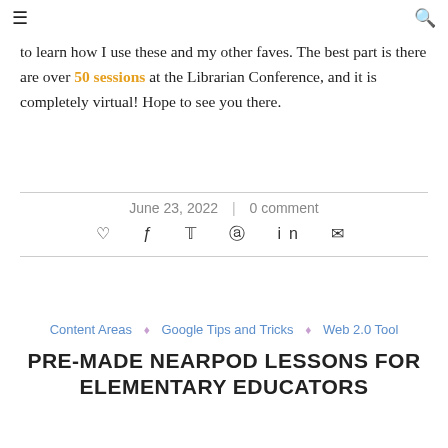≡  🔍
to learn how I use these and my other faves. The best part is there are over 50 sessions at the Librarian Conference, and it is completely virtual! Hope to see you there.
June 23, 2022  |  0 comment
♡ f 𝕏 ⊕ in ✉
Content Areas ◇ Google Tips and Tricks ◇ Web 2.0 Tool
PRE-MADE NEARPOD LESSONS FOR ELEMENTARY EDUCATORS